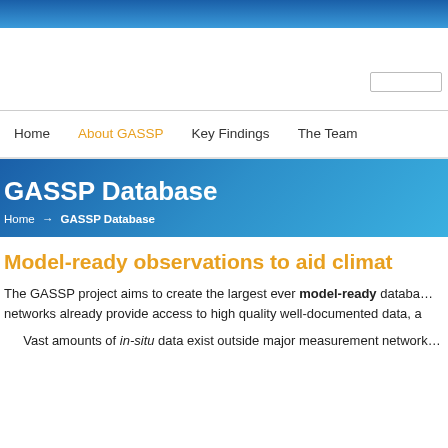GASSP Database — website header with navigation: Home | About GASSP | Key Findings | The Team
GASSP Database
Home → GASSP Database
Model-ready observations to aid climat…
The GASSP project aims to create the largest ever model-ready database… networks already provide access to high quality well-documented data, a…
Vast amounts of in-situ data exist outside major measurement network…